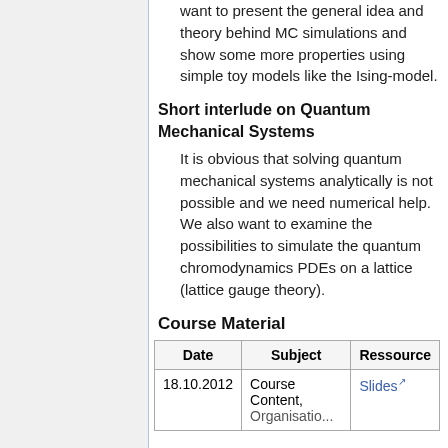want to present the general idea and theory behind MC simulations and show some more properties using simple toy models like the Ising-model.
Short interlude on Quantum Mechanical Systems
It is obvious that solving quantum mechanical systems analytically is not possible and we need numerical help. We also want to examine the possibilities to simulate the quantum chromodynamics PDEs on a lattice (lattice gauge theory).
Course Material
| Date | Subject | Ressource |
| --- | --- | --- |
| 18.10.2012 | Course Content, ... | Slides |